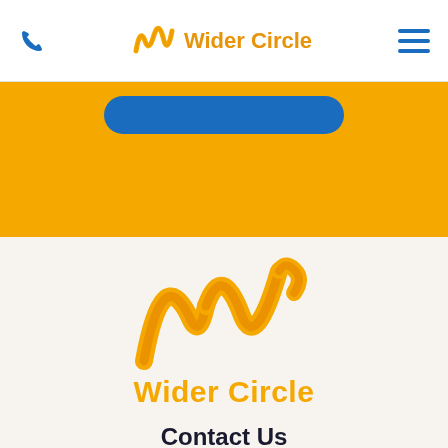Wider Circle
[Figure (illustration): Orange banner section with a blue rounded button]
[Figure (logo): Wider Circle logo — stylized W in orange/gold gradient with the text Wider Circle in orange below]
Contact Us
50 Woodside Plaza, Suite 743